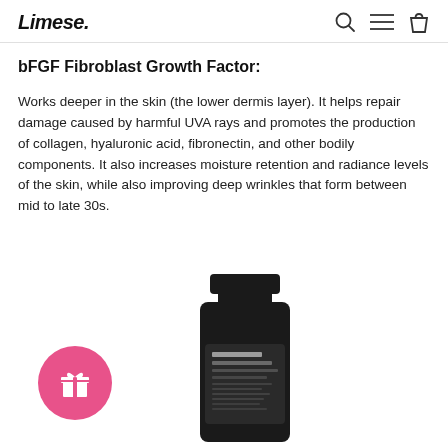Limese.
bFGF Fibroblast Growth Factor:
Works deeper in the skin (the lower dermis layer). It helps repair damage caused by harmful UVA rays and promotes the production of collagen, hyaluronic acid, fibronectin, and other bodily components. It also increases moisture retention and radiance levels of the skin, while also improving deep wrinkles that form between mid to late 30s.
[Figure (photo): Pink circular gift badge icon with a white gift box symbol, and a black tube of Klairs Midnight Blue Calming Cream product partially visible at the bottom of the page.]